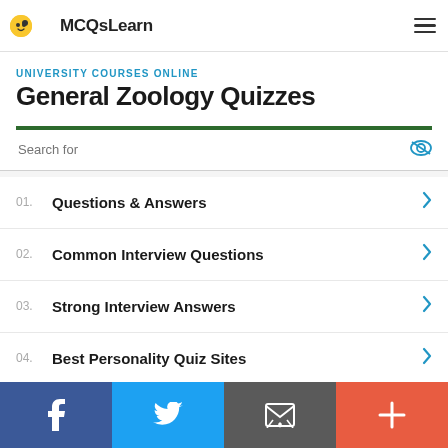MCQsLearn
UNIVERSITY COURSES ONLINE
General Zoology Quizzes
01. Questions & Answers
02. Common Interview Questions
03. Strong Interview Answers
04. Best Personality Quiz Sites
Facebook | Twitter | Email | Plus